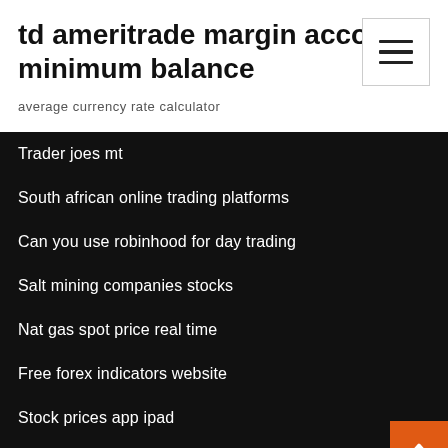td ameritrade margin account minimum balance
average currency rate calculator
Trader joes mt
South african online trading platforms
Can you use robinhood for day trading
Salt mining companies stocks
Nat gas spot price real time
Free forex indicators website
Stock prices app ipad
Forex en español como funciona